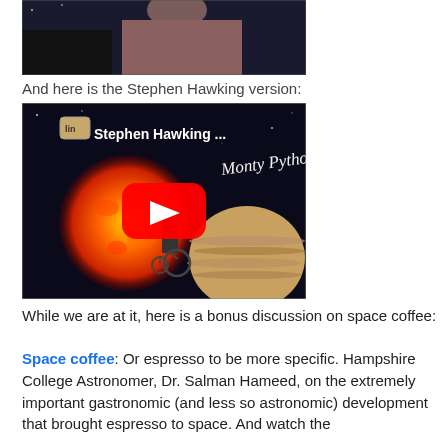[Figure (photo): Top portion of a video/photo showing a person in a dark setting, partially cropped at the top of the page.]
And here is the Stephen Hawking version:
[Figure (screenshot): YouTube video thumbnail showing Stephen Hawking Monty Python themed video, with a red play button, a glowing red star/sun, a figure in a wheelchair, planets, and cursive Monty Python logo text.]
While we are at it, here is a bonus discussion on space coffee:
Space coffee: Or espresso to be more specific.  Hampshire College Astronomer, Dr. Salman Hameed, on the extremely important gastronomic (and less so astronomic) development that brought espresso to space.  And watch the